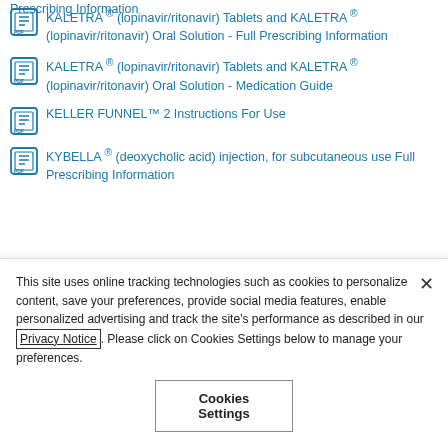Prescribing Information
KALETRA® (lopinavir/ritonavir) Tablets and KALETRA® (lopinavir/ritonavir) Oral Solution - Full Prescribing Information
KALETRA® (lopinavir/ritonavir) Tablets and KALETRA® (lopinavir/ritonavir) Oral Solution - Medication Guide
KELLER FUNNEL™ 2 Instructions For Use
KYBELLA® (deoxycholic acid) injection, for subcutaneous use Full Prescribing Information
This site uses online tracking technologies such as cookies to personalize content, save your preferences, provide social media features, enable personalized advertising and track the site's performance as described in our Privacy Notice. Please click on Cookies Settings below to manage your preferences.
Cookies Settings